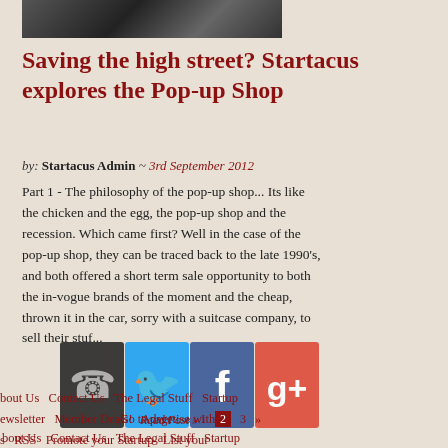[Figure (photo): Top portion of a blog article image showing playing cards/postcards on a dark surface]
Saving the high street? Startacus explores the Pop-up Shop
by: Startacus Admin ~ 3rd September 2012
Part 1 - The philosophy of the pop-up shop... Its like the chicken and the egg, the pop-up shop and the recession. Which came first? Well in the case of the pop-up shop, they can be traced back to the late 1990's, and both offered a short term sale opportunity to both the in-vogue brands of the moment and the cheap, throw it in the car, sorry with a suitcase company, to sell their stuf...
[Figure (infographic): Social media sharing icons overlay: phone/contact icon, Twitter bird icon, Facebook f icon, Google+ icon]
Read Post »
Go to page:  «  1  2  3  »
bout Us   Contact Us   The Legal Stuff   Startup ewsletter   Member Deals!   Advertise with s   RSS   Promote your Startup   List your tartup   Startup and Business Guest Writers Vanted!   Post a Startup Job for Free   Privacy olicy   UK startup support and help